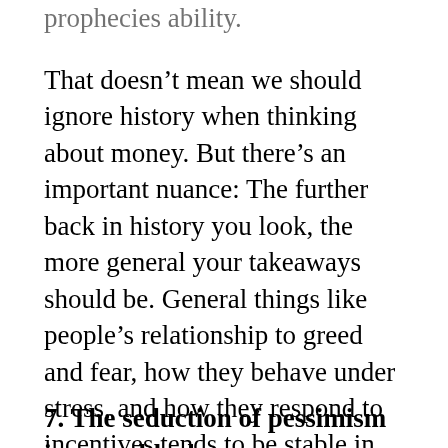prophecies ability.
That doesn’t mean we should ignore history when thinking about money. But there’s an important nuance: The further back in history you look, the more general your takeaways should be. General things like people’s relationship to greed and fear, how they behave under stress, and how they respond to incentives tends to be stable in time. The history of money is useful for that kind of stuff. But specific trends, specific trades, specific sectors, and specific causal relationships are always a showcase of evolution in progress.
7. The seduction of pessimism in a world where